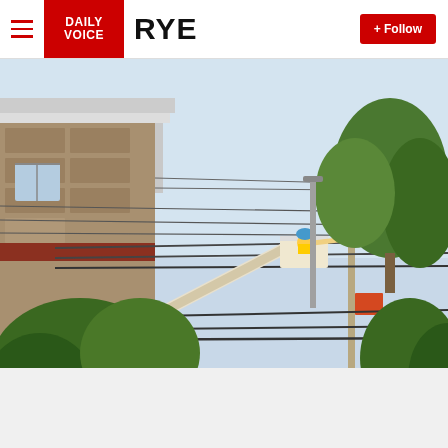Daily Voice RYE
[Figure (photo): Con Edison utility worker in cherry picker bucket on boom truck working on power lines with orange flags on utility pole, residential neighborhood with trees and stone building in background]
Con Edison making repairs in Westc...
Several roads were closed in the village after a storm rolled through the region and felled trees and downed power lines.